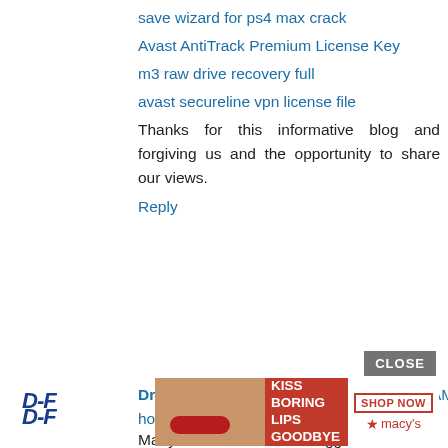save wizard for ps4 max crack
Avast AntiTrack Premium License Key
m3 raw drive recovery full
avast secureline vpn license file
Thanks for this informative blog and forgiving us and the opportunity to share our views.
Reply
Drugs Forum  December 30, 2021 at 6:42 AM
how long methamphetamine st
Many men and women strugg with mental illness. In 2018, the U.S. struggled with d according to the Substance A Administration.
Reply
[Figure (screenshot): Black video overlay rectangle covering right portion of page]
CLOSE
[Figure (photo): Macy's advertisement banner: KISS BORING LIPS GOODBYE with woman's face and SHOP NOW button with Macys star logo]